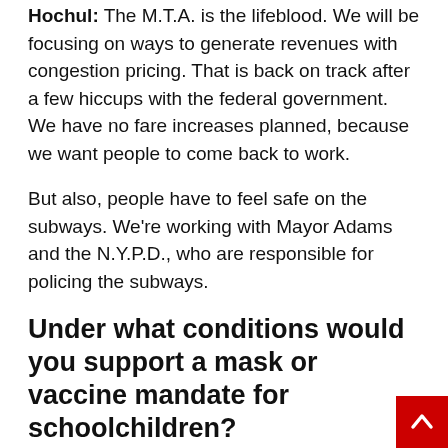Hochul: The M.T.A. is the lifeblood. We will be focusing on ways to generate revenues with congestion pricing. That is back on track after a few hiccups with the federal government. We have no fare increases planned, because we want people to come back to work.
But also, people have to feel safe on the subways. We're working with Mayor Adams and the N.Y.P.D., who are responsible for policing the subways.
Under what conditions would you support a mask or vaccine mandate for schoolchildren?
Suozzi: I do not support any mandates for schoolchildren in the foreseeable future. The only